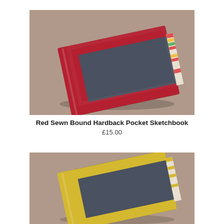[Figure (photo): Red sewn bound hardback pocket sketchbook photographed on a taupe/beige background, showing a dark grey textured cover with red spine and corners, slightly open to reveal colorful page edges.]
Red Sewn Bound Hardback Pocket Sketchbook
£15.00
[Figure (photo): Yellow sewn bound hardback pocket sketchbook photographed on a taupe/beige background, showing a dark grey textured cover with yellow spine and corners, slightly open to reveal page edges.]